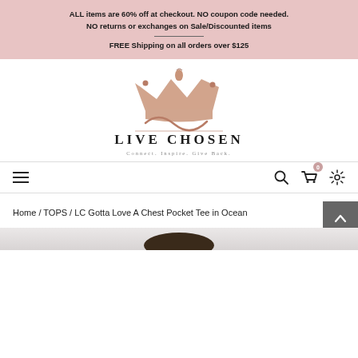ALL items are 60% off at checkout. NO coupon code needed. NO returns or exchanges on Sale/Discounted items
FREE Shipping on all orders over $125
[Figure (logo): Live Chosen brand logo with rose gold crown illustration above stylized 'LC' script, company name 'LIVE CHOSEN' in spaced serif capitals, tagline 'Connect. Inspire. Give Back.']
[Figure (other): Navigation bar with hamburger menu icon on left, and search, cart (with badge showing 0), and settings icons on right]
Home / TOPS / LC Gotta Love A Chest Pocket Tee in Ocean
[Figure (photo): Partial view of product image at bottom of page, showing top of a model's head with dark hair]